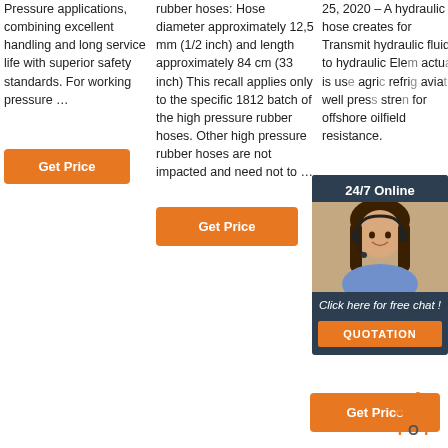Pressure applications, combining excellent handling and long service life with superior safety standards. For working pressure …
[Figure (other): Orange 'Get Price' button]
rubber hoses: Hose diameter approximately 12,5 mm (1/2 inch) and length approximately 84 cm (33 inch) This recall applies only to the specific 1812 batch of the high pressure rubber hoses. Other high pressure rubber hoses are not impacted and need not to …
[Figure (other): Orange 'Get Price' button]
25, 2020 – A hydraulic hose creates for Transmit hydraulic fluid to hydraulic Ele... actu... is us... agri... refri... avia... well... pres... stre... for offshore oilfield resistance.
[Figure (photo): Chat popup with 24/7 Online label, a photo of a woman with headset, 'Click here for free chat!' text, and a QUOTATION orange button]
[Figure (other): Orange 'Get Price' button and TOP arrow icon]